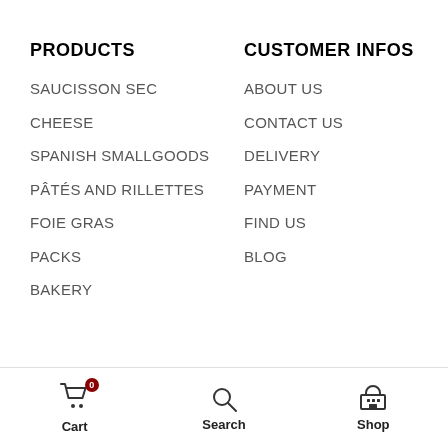PRODUCTS
CUSTOMER INFOS
SAUCISSON SEC
ABOUT US
CHEESE
CONTACT US
SPANISH SMALLGOODS
DELIVERY
PÂTÉS AND RILLETTES
PAYMENT
FOIE GRAS
FIND US
PACKS
BLOG
BAKERY
Cart  Search  Shop